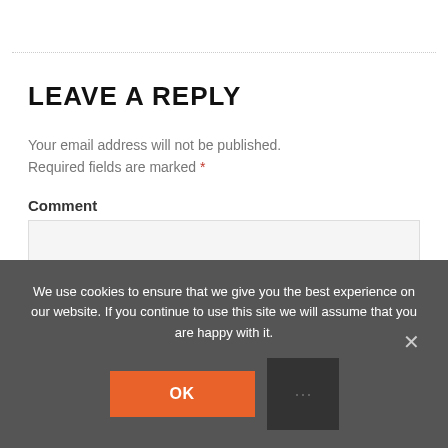LEAVE A REPLY
Your email address will not be published. Required fields are marked *
Comment
We use cookies to ensure that we give you the best experience on our website. If you continue to use this site we will assume that you are happy with it.